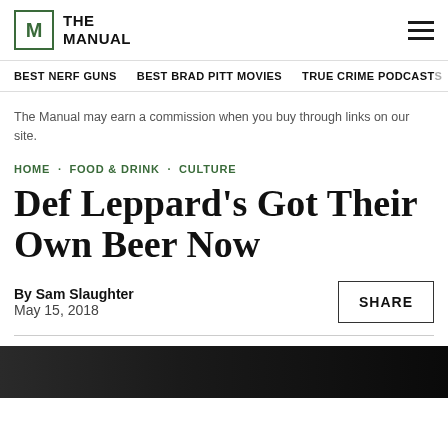THE MANUAL
BEST NERF GUNS · BEST BRAD PITT MOVIES · TRUE CRIME PODCASTS
The Manual may earn a commission when you buy through links on our site.
HOME · FOOD & DRINK · CULTURE
Def Leppard's Got Their Own Beer Now
By Sam Slaughter
May 15, 2018
[Figure (photo): Dark image strip at the bottom of the page, partially showing what appears to be a photo related to the article about Def Leppard beer.]